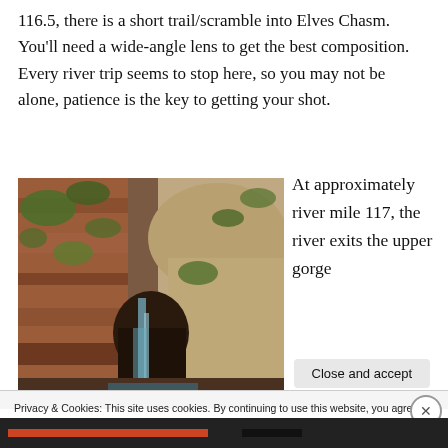116.5, there is a short trail/scramble into Elves Chasm. You'll need a wide-angle lens to get the best composition. Every river trip seems to stop here, so you may not be alone, patience is the key to getting your shot.
[Figure (photo): Photo of Elves Chasm showing red sandstone canyon walls with green moss and a small waterfall flowing between the rocks.]
At approximately river mile 117, the river exits the upper gorge
Privacy & Cookies: This site uses cookies. By continuing to use this website, you agree to their use.
To find out more, including how to control cookies, see here: Cookie Policy